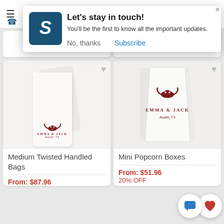[Figure (screenshot): Mobile e-commerce website screenshot showing a popup notification overlay and product listing page with two product cards visible at the bottom.]
Let's stay in touch!
You'll be the first to know all the important updates.
No, thanks   Subscribe
Medium Twisted Handled Bags
From: $87.96
Mini Popcorn Boxes
From: $51.96
20% OFF